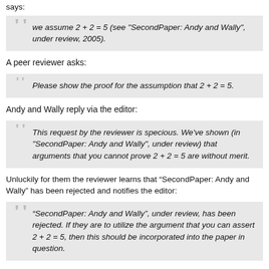says:
we assume 2 + 2 = 5 (see "SecondPaper: Andy and Wally", under review, 2005).
A peer reviewer asks:
Please show the proof for the assumption that 2 + 2 = 5.
Andy and Wally reply via the editor:
This request by the reviewer is specious. We've shown (in "SecondPaper: Andy and Wally", under review) that arguments that you cannot prove 2 + 2 = 5 are without merit.
Unluckily for them the reviewer learns that “SecondPaper: Andy and Wally” has been rejected and notifies the editor:
“SecondPaper: Andy and Wally”, under review, has been rejected. If they are to utilize the argument that you can assert 2 + 2 = 5, then this should be incorporated into the paper in question.